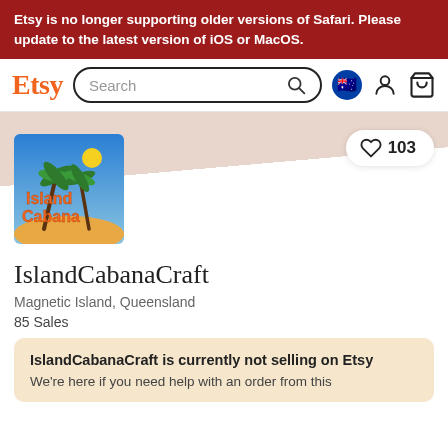Etsy is no longer supporting older versions of Safari. Please update to the latest version of iOS or MacOS.
[Figure (screenshot): Etsy navigation bar with logo, search bar, Australian flag icon, user icon, and basket icon]
[Figure (logo): IslandCabanaCraft shop logo showing palm trees, sun, and text 'Island Cabana' on a blue sky background]
103
IslandCabanaCraft
Magnetic Island, Queensland
85 Sales
IslandCabanaCraft is currently not selling on Etsy
We're here if you need help with an order from this